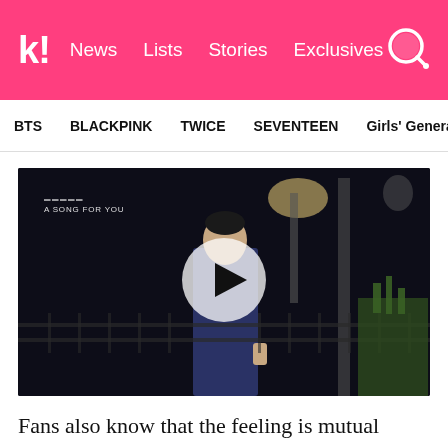k! News Lists Stories Exclusives
BTS  BLACKPINK  TWICE  SEVENTEEN  Girls' Generation
[Figure (screenshot): Video thumbnail screenshot from 'A Song For You' show featuring a male K-pop artist in a navy blue outfit standing outdoors at night, with a large circular white play button overlay in the center.]
Fans also know that the feeling is mutual